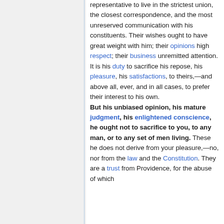representative to live in the strictest union, the closest correspondence, and the most unreserved communication with his constituents. Their wishes ought to have great weight with him; their opinions high respect; their business unremitted attention. It is his duty to sacrifice his repose, his pleasure, his satisfactions, to theirs,—and above all, ever, and in all cases, to prefer their interest to his own. But his unbiased opinion, his mature judgment, his enlightened conscience, he ought not to sacrifice to you, to any man, or to any set of men living. These he does not derive from your pleasure,—no, nor from the law and the Constitution. They are a trust from Providence, for the abuse of which